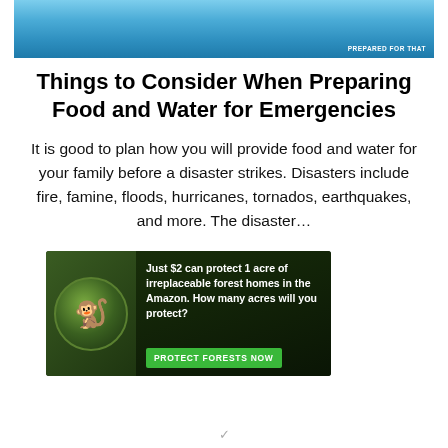[Figure (photo): Top banner image showing blue water storage containers or jars, with a 'PREPARED FOR THAT' watermark in the bottom right corner.]
Things to Consider When Preparing Food and Water for Emergencies
It is good to plan how you will provide food and water for your family before a disaster strikes. Disasters include fire, famine, floods, hurricanes, tornados, earthquakes, and more. The disaster…
[Figure (infographic): Advertisement banner with dark forest background. Shows a monkey/primate in a circular image on the left. Text reads: 'Just $2 can protect 1 acre of irreplaceable forest homes in the Amazon. How many acres will you protect?' with a green 'PROTECT FORESTS NOW' button.]